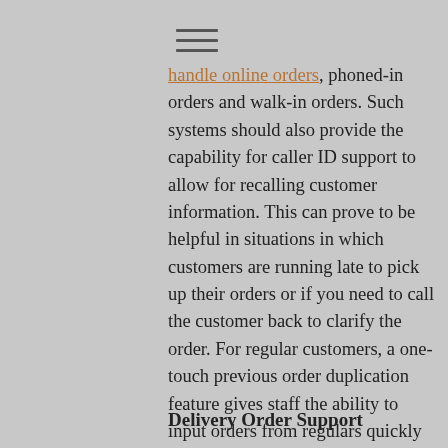handle online orders, phoned-in orders and walk-in orders. Such systems should also provide the capability for caller ID support to allow for recalling customer information. This can prove to be helpful in situations in which customers are running late to pick up their orders or if you need to call the customer back to clarify the order. For regular customers, a one-touch previous order duplication feature gives staff the ability to input orders from regulars quickly and easily. For online orders, it is important that the POS system offer apps that will allow customers to place orders via their tablets or smartphones.
Delivery Order Support